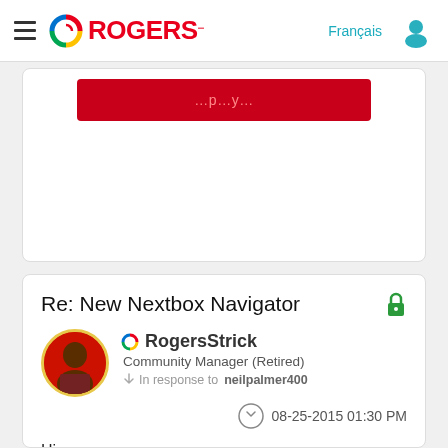Rogers — Français | User menu
[Figure (screenshot): Partial red button/banner at top of page content area]
Re: New Nextbox Navigator
RogersStrick
Community Manager (Retired)
In response to neilpalmer400
08-25-2015 01:30 PM
Hi everyone,
...I'd like to thank you for your feedback on this...